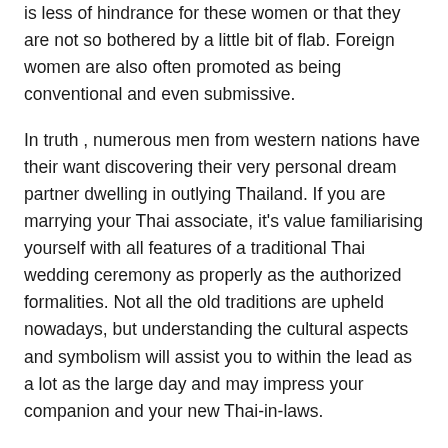is less of hindrance for these women or that they are not so bothered by a little bit of flab. Foreign women are also often promoted as being conventional and even submissive.
In truth , numerous men from western nations have their want discovering their very personal dream partner dwelling in outlying Thailand. If you are marrying your Thai associate, it's value familiarising yourself with all features of a traditional Thai wedding ceremony as properly as the authorized formalities. Not all the old traditions are upheld nowadays, but understanding the cultural aspects and symbolism will assist you to within the lead as a lot as the large day and may impress your companion and your new Thai-in-laws.
Thailand Reopening